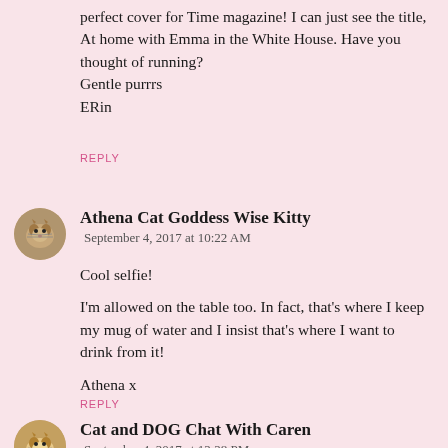perfect cover for Time magazine! I can just see the title, At home with Emma in the White House. Have you thought of running?
Gentle purrrs
ERin
REPLY
Athena Cat Goddess Wise Kitty
September 4, 2017 at 10:22 AM
Cool selfie!

I'm allowed on the table too. In fact, that's where I keep my mug of water and I insist that's where I want to drink from it!

Athena x
REPLY
Cat and DOG Chat With Caren
September 4, 2017 at 12:28 PM
I'm allowed on THAT kind of a table, but not the ones we eat on!!! Tell your pawrents to get ANY